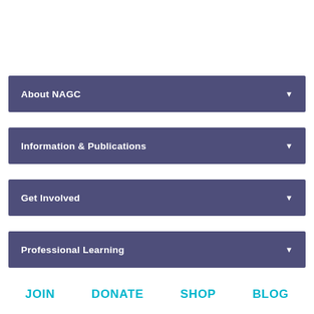About NAGC
Information & Publications
Get Involved
Professional Learning
JOIN
DONATE
SHOP
BLOG
Connect with NAGC